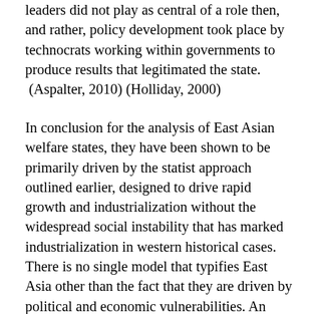leaders did not play as central of a role then, and rather, policy development took place by technocrats working within governments to produce results that legitimated the state. (Aspalter, 2010) (Holliday, 2000)
In conclusion for the analysis of East Asian welfare states, they have been shown to be primarily driven by the statist approach outlined earlier, designed to drive rapid growth and industrialization without the widespread social instability that has marked industrialization in western historical cases. There is no single model that typifies East Asia other than the fact that they are driven by political and economic vulnerabilities. An important theory behind these is that welfare states develop more easily in small and open